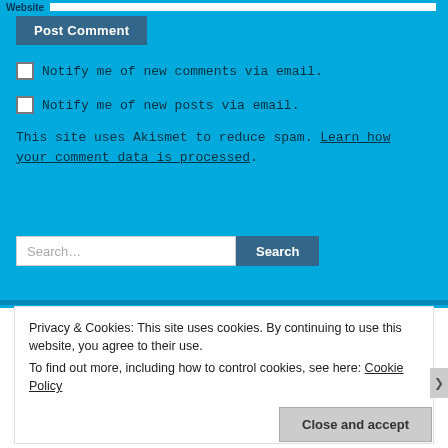Website
Post Comment
Notify me of new comments via email.
Notify me of new posts via email.
This site uses Akismet to reduce spam. Learn how your comment data is processed.
Search...
Privacy & Cookies: This site uses cookies. By continuing to use this website, you agree to their use.
To find out more, including how to control cookies, see here: Cookie Policy
Close and accept